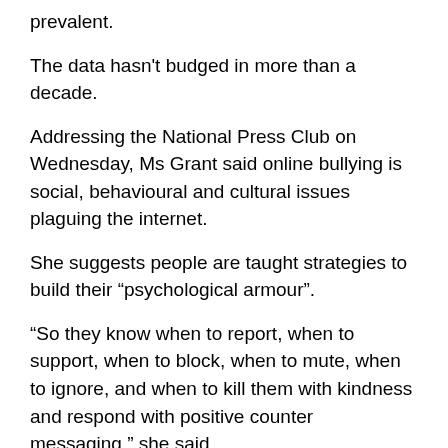prevalent.
The data hasn't budged in more than a decade.
Addressing the National Press Club on Wednesday, Ms Grant said online bullying is social, behavioural and cultural issues plaguing the internet.
She suggests people are taught strategies to build their “psychological armour”.
“So they know when to report, when to support, when to block, when to mute, when to ignore, and when to kill them with kindness and respond with positive counter messaging,” she said.
The e-safety office is able to impose a fine of $26,000 a day on tech companies if they don’t remove revenge porn, but Ms Grant wants online giants to be proactive.
“We’re calling on them to incorporate safety by design into their product development processes,”